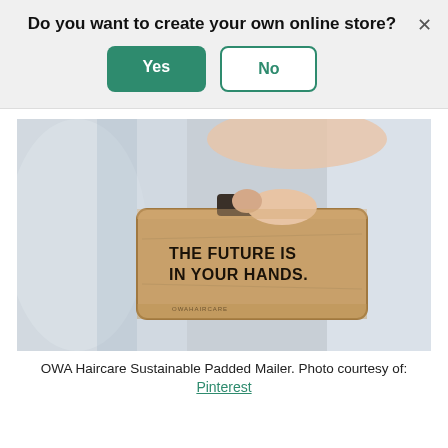Do you want to create your own online store?
Yes | No
[Figure (photo): A hand holding a brown kraft paper padded mailer package with bold black text reading 'THE FUTURE IS IN YOUR HANDS.' against a light curtain background. Small text at bottom of package reads 'OWAHAIRCARE'.]
OWA Haircare Sustainable Padded Mailer. Photo courtesy of: Pinterest